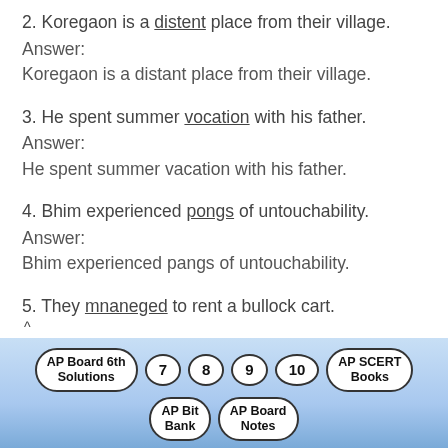2. Koregaon is a distent place from their village.
Answer:
Koregaon is a distant place from their village.
3. He spent summer vocation with his father.
Answer:
He spent summer vacation with his father.
4. Bhim experienced pongs of untouchability.
Answer:
Bhim experienced pangs of untouchability.
5. They mnaneged to rent a bullock cart.
AP Board 6th Solutions | 7 | 8 | 9 | 10 | AP SCERT Books | AP Bit Bank | AP Board Notes